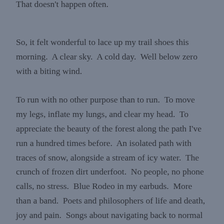That doesn't happen often.
So, it felt wonderful to lace up my trail shoes this morning.  A clear sky.  A cold day.  Well below zero with a biting wind.
To run with no other purpose than to run.  To move my legs, inflate my lungs, and clear my head.  To appreciate the beauty of the forest along the path I’ve run a hundred times before.  An isolated path with traces of snow, alongside a stream of icy water.  The crunch of frozen dirt underfoot.  No people, no phone calls, no stress.  Blue Rodeo in my earbuds.  More than a band.  Poets and philosophers of life and death, joy and pain.  Songs about navigating back to normal when your world strays.